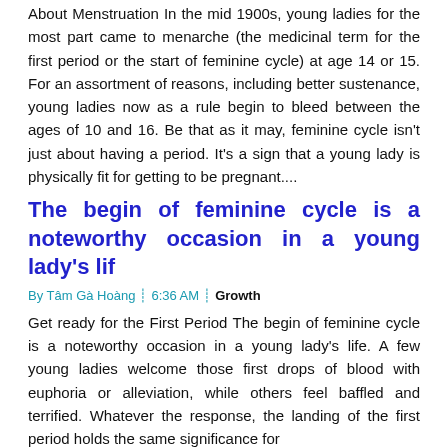About Menstruation In the mid 1900s, young ladies for the most part came to menarche (the medicinal term for the first period or the start of feminine cycle) at age 14 or 15. For an assortment of reasons, including better sustenance, young ladies now as a rule begin to bleed between the ages of 10 and 16. Be that as it may, feminine cycle isn't just about having a period. It's a sign that a young lady is physically fit for getting to be pregnant....
The begin of feminine cycle is a noteworthy occasion in a young lady's lif
By Tâm Gà Hoàng  6:36 AM  Growth
Get ready for the First Period The begin of feminine cycle is a noteworthy occasion in a young lady's life. A few young ladies welcome those first drops of blood with euphoria or alleviation, while others feel baffled and terrified. Whatever the response, the landing of the first period holds the same significance for